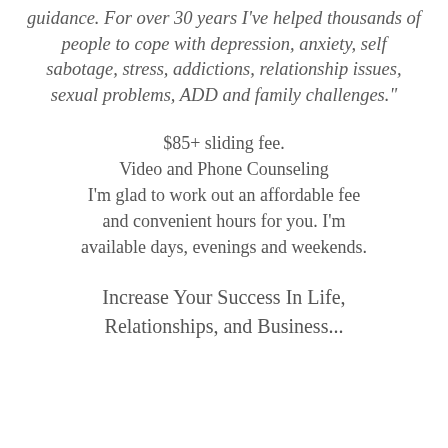guidance. For over 30 years I've helped thousands of people to cope with depression, anxiety, self sabotage, stress, addictions, relationship issues, sexual problems, ADD and family challenges."
$85+ sliding fee.
Video and Phone Counseling
I'm glad to work out an affordable fee and convenient hours for you. I'm available days, evenings and weekends.
Increase Your Success In Life, Relationships, and Business...